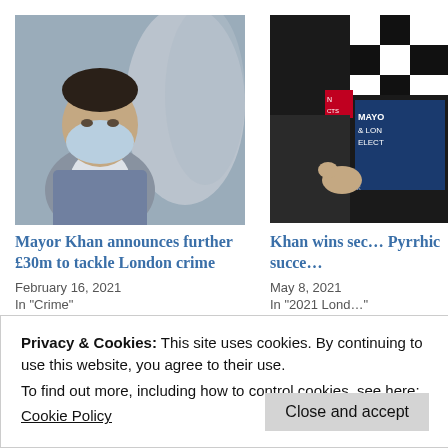[Figure (photo): Photo of Mayor Sadiq Khan wearing a blue face mask and grey suit jacket, with blurred figures in the background]
[Figure (photo): Partial photo of a person at a podium with London Mayor and London Elections signage visible in the background (black and white checkered pattern)]
Mayor Khan announces further £30m to tackle London crime
February 16, 2021
In "Crime"
Khan wins sec… Pyrrhic succe…
May 8, 2021
In "2021 Lond…"
London's economic and social recovery from the Covid-19 pandemic is a top priority for all London boroughs particularly given the worrying rise in the cost of living.
Privacy & Cookies: This site uses cookies. By continuing to use this website, you agree to their use.
To find out more, including how to control cookies, see here:
Cookie Policy
Close and accept